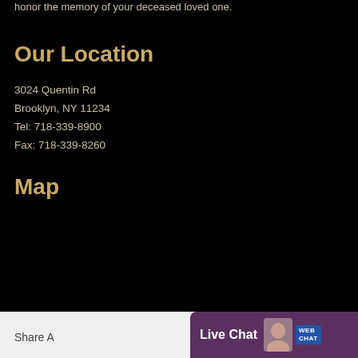honor the memory of your deceased loved one.
Our Location
3024 Quentin Rd
Brooklyn, NY 11234
Tel: 718-339-8900
Fax: 718-339-8260
Map
Share A
Live Chat